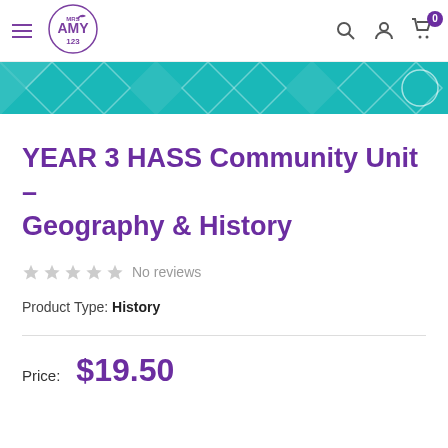MRS AMY 123 — navigation bar with hamburger menu, logo, search, account, and cart (0)
[Figure (illustration): Teal banner strip with white diamond/chevron pattern across the top of the product page]
YEAR 3 HASS Community Unit - Geography & History
★★★★★ No reviews
Product Type: History
Price: $19.50